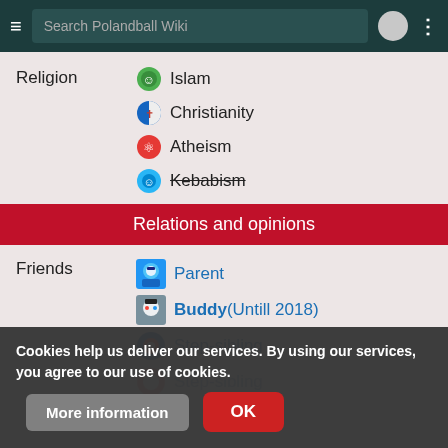Search Polandball Wiki
Religion
Islam
Christianity
Atheism
Kebabism
Relations and opinions
Friends
Parent
Buddy(Untill 2018)
Step-sibling
Step-sibling
Both Chinaballs
Cookies help us deliver our services. By using our services, you agree to our use of cookies.